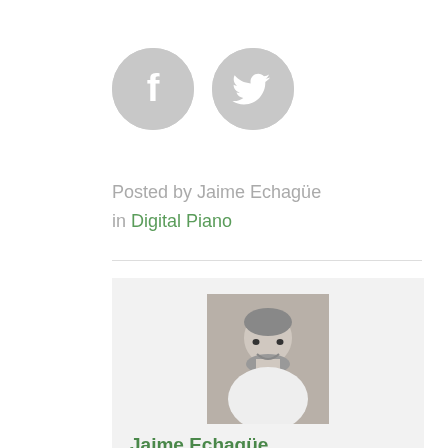[Figure (other): Two circular gray social media icon buttons: Facebook (f) and Twitter (bird icon)]
Posted by Jaime Echagüe
in Digital Piano
[Figure (photo): Grayscale portrait photo of Jaime Echagüe, a man with short hair and a beard, smiling, wearing a white shirt]
Jaime Echagüe
Hi! I'm Jaime Echagüe, a musician and an authentic fan of musical instruments. With this blog I want to give general